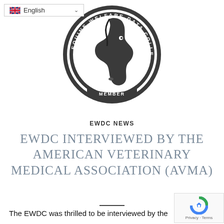[Figure (logo): Equine Welfare Data Collective Member circular logo with horse head silhouette and text around the border]
EWDC NEWS
EWDC INTERVIEWED BY THE AMERICAN VETERINARY MEDICAL ASSOCIATION (AVMA)
The EWDC was thrilled to be interviewed by the